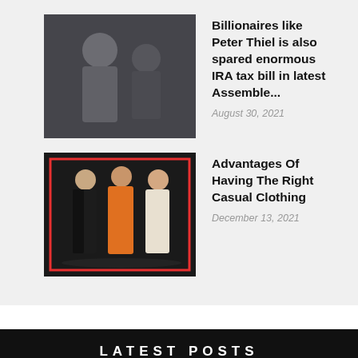[Figure (photo): Woman in business attire looking sideways, dark background]
Billionaires like Peter Thiel is also spared enormous IRA tax bill in latest Assemble...
August 30, 2021
[Figure (photo): Three people standing in fashion outfits - black suit, orange outfit, white outfit - with a red rectangle border overlay]
Advantages Of Having The Right Casual Clothing
December 13, 2021
LATEST POSTS
[Figure (photo): Person with backpack looking at building architecture]
The Top 3 Benefits of Product Engineering Services
July 25, 2022
[Figure (photo): Partial view of another article image]
Frequently Asked Questions About